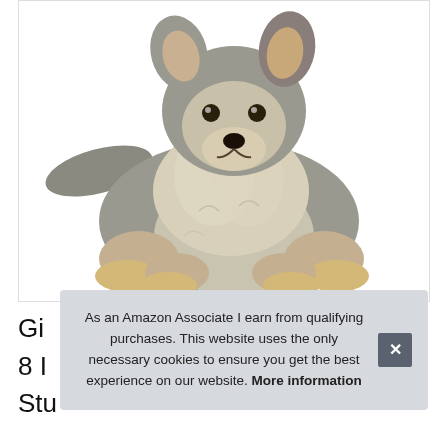[Figure (photo): A stuffed animal wolf or coyote plush toy, gray and tan colored, photographed against a white background inside a bordered product image box.]
Gi
8 I
Stu
As an Amazon Associate I earn from qualifying purchases. This website uses the only necessary cookies to ensure you get the best experience on our website. More information